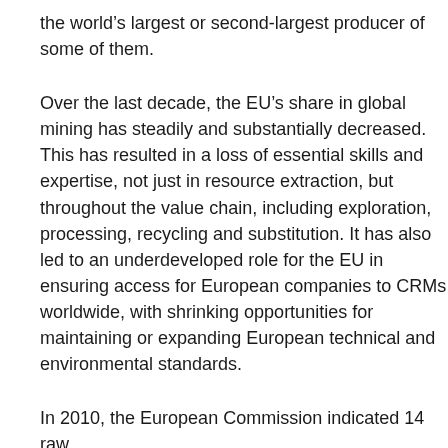the world's largest or second-largest producer of some of them.
Over the last decade, the EU's share in global mining has steadily and substantially decreased. This has resulted in a loss of essential skills and expertise, not just in resource extraction, but throughout the value chain, including exploration, processing, recycling and substitution. It has also led to an underdeveloped role for the EU in ensuring access for European companies to CRMs worldwide, with shrinking opportunities for maintaining or expanding European technical and environmental standards.
In 2010, the European Commission indicated 14 raw